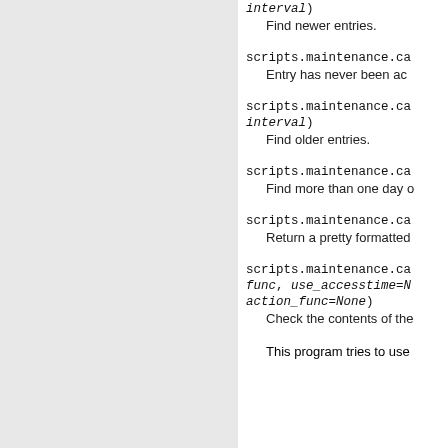interval)
Find newer entries.
scripts.maintenance.ca
Entry has never been ac
scripts.maintenance.ca
interval)
Find older entries.
scripts.maintenance.ca
Find more than one day o
scripts.maintenance.ca
Return a pretty formatted
scripts.maintenance.ca
func, use_accesstime=N
action_func=None)
Check the contents of the
This program tries to use